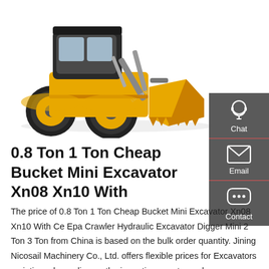[Figure (photo): Yellow and black wheel loader / compact wheel excavator (LW250FV) with a large bucket attachment, photographed on white background]
0.8 Ton 1 Ton Cheap Bucket Mini Excavator Xn08 Xn10 With
The price of 0.8 Ton 1 Ton Cheap Bucket Mini Excavator Xn08 Xn10 With Ce Epa Crawler Hydraulic Excavator Digger Mini 2 Ton 3 Ton from China is based on the bulk order quantity. Jining Nicosail Machinery Co., Ltd. offers flexible prices for Excavators variations depending on the importing country and